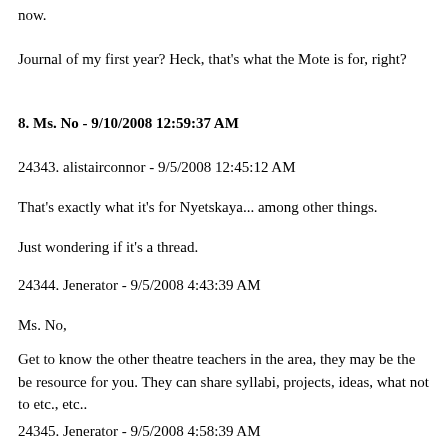now.
Journal of my first year? Heck, that's what the Mote is for, right?
8. Ms. No - 9/10/2008 12:59:37 AM
24343. alistairconnor - 9/5/2008 12:45:12 AM
That's exactly what it's for Nyetskaya... among other things.
Just wondering if it's a thread.
24344. Jenerator - 9/5/2008 4:43:39 AM
Ms. No,
Get to know the other theatre teachers in the area, they may be the be resource for you. They can share syllabi, projects, ideas, what not to etc., etc..
24345. Jenerator - 9/5/2008 4:58:39 AM